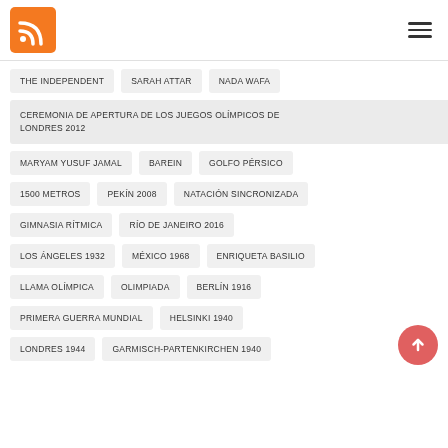[Figure (logo): RSS feed icon - orange square with white RSS signal symbol]
[Figure (other): Hamburger menu icon - three horizontal lines]
THE INDEPENDENT
SARAH ATTAR
NADA WAFA
CEREMONIA DE APERTURA DE LOS JUEGOS OLÍMPICOS DE LONDRES 2012
MARYAM YUSUF JAMAL
BAREIN
GOLFO PÉRSICO
1500 METROS
PEKÍN 2008
NATACIÓN SINCRONIZADA
GIMNASIA RÍTMICA
RÍO DE JANEIRO 2016
LOS ÁNGELES 1932
MÉXICO 1968
ENRIQUETA BASILIO
LLAMA OLÍMPICA
OLIMPIADA
BERLÍN 1916
PRIMERA GUERRA MUNDIAL
HELSINKI 1940
LONDRES 1944
GARMISCH-PARTENKIRCHEN 1940